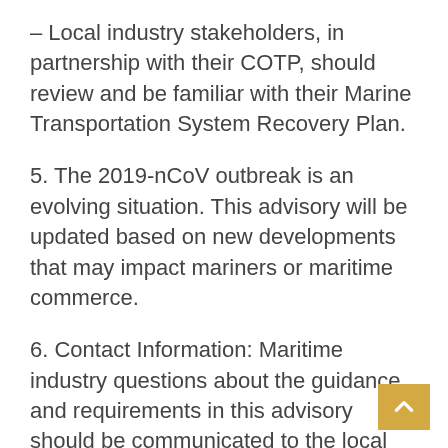– Local industry stakeholders, in partnership with their COTP, should review and be familiar with their Marine Transportation System Recovery Plan.
5. The 2019-nCoV outbreak is an evolving situation. This advisory will be updated based on new developments that may impact mariners or maritime commerce.
6. Contact Information: Maritime industry questions about the guidance and requirements in this advisory should be communicated to the local U.S. Coast Guard COTP office or to a vessel's appropriate COTP for